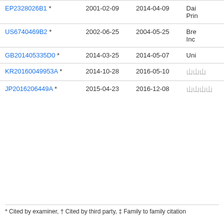| Publication | Priority Date | Publication Date | Assignee |
| --- | --- | --- | --- |
| EP2328026B1 * | 2001-02-09 | 2014-04-09 | Dai Prin |
| US6740469B2 * | 2002-06-25 | 2004-05-25 | Bre Inc |
| GB201405335D0 * | 2014-03-25 | 2014-05-07 | Uni |
| KR20160049953A * | 2014-10-28 | 2016-05-10 | [CJK] |
| JP2016206449A * | 2015-04-23 | 2016-12-08 | [CJK] |
* Cited by examiner, † Cited by third party, ‡ Family to family citation